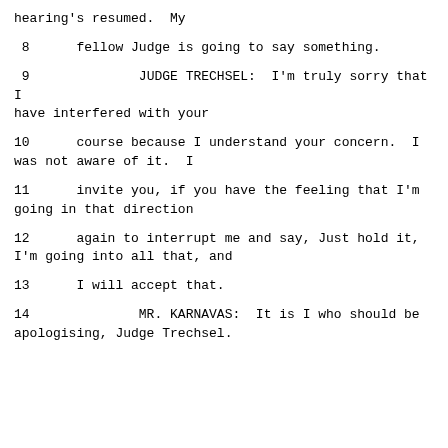hearing's resumed.  My
8      fellow Judge is going to say something.
9              JUDGE TRECHSEL:  I'm truly sorry that I have interfered with your
10      course because I understand your concern.  I was not aware of it.  I
11      invite you, if you have the feeling that I'm going in that direction
12      again to interrupt me and say, Just hold it, I'm going into all that, and
13      I will accept that.
14              MR. KARNAVAS:  It is I who should be apologising, Judge Trechsel.